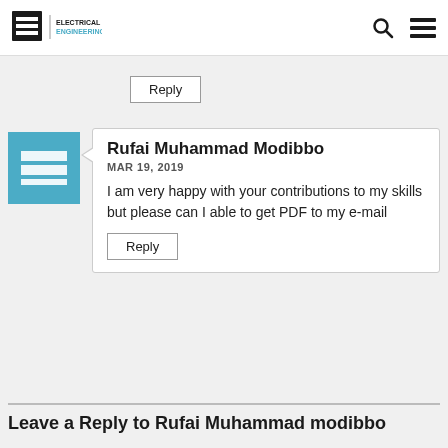EEP | ELECTRICAL ENGINEERING PORTAL
Reply
Rufai Muhammad Modibbo
MAR 19, 2019
I am very happy with your contributions to my skills but please can I able to get PDF to my e-mail
Reply
Leave a Reply to Rufai Muhammad modibbo